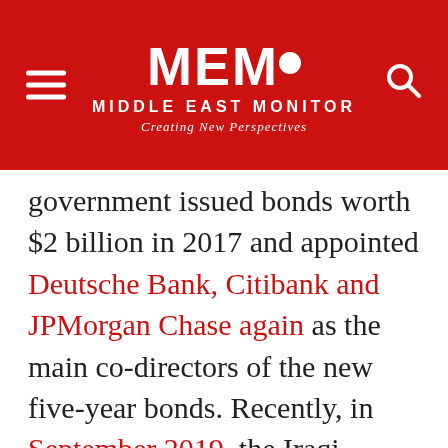MEMO MIDDLE EAST MONITOR — Creating New Perspectives
government issued bonds worth $2 billion in 2017 and appointed Deutsche Bank, Citibank and JPMorgan Chase again as the main co-directors of the new five-year bonds. Recently, in September 2019, the Iraqi Council of Ministers headed by Adel Abdul Mahdi approved a loan agreement between the Federal Ministry of Finance, Deutsche Bank and Standard Chartered to